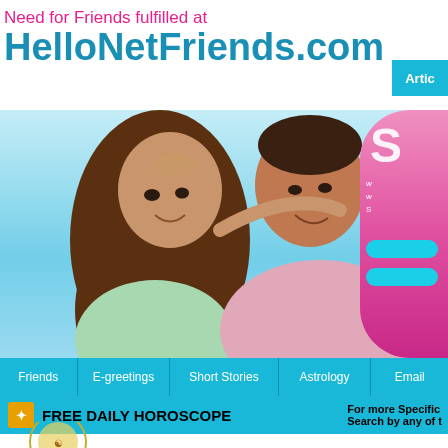Need for Friends fulfilled at HelloNetFriends.com
[Figure (screenshot): Website screenshot of HelloNetFriends.com showing a couple smiling, navigation bar with Friends, E-greetings, Short Stories, Astrology, Email tabs, and a FREE DAILY HOROSCOPE section]
Artic
Friends | E-greetings | Short Stories | Astrology | Email
FREE DAILY HOROSCOPE
For more Specific
Search by any of t